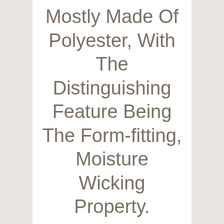Mostly Made Of Polyester, With The Distinguishing Feature Being The Form-fitting, Moisture Wicking Property.